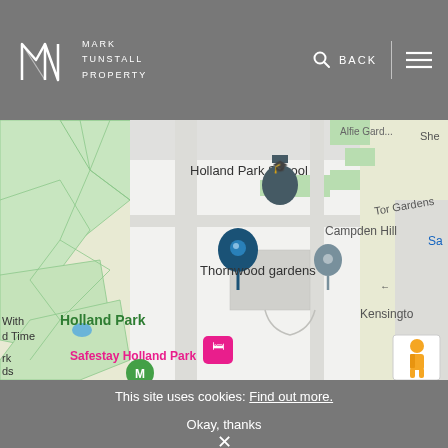MARK TUNSTALL PROPERTY — BACK
[Figure (map): Google Maps screenshot showing Holland Park area in London. Features Thornwood gardens with a blue location pin, Holland Park School with a graduation cap marker, Safestay Holland Park hotel marked in pink, Campden Hill road label, Tor Gardens label, and a street view pegman icon in bottom right corner. Green park areas visible on left.]
This site uses cookies: Find out more.
Okay, thanks
×